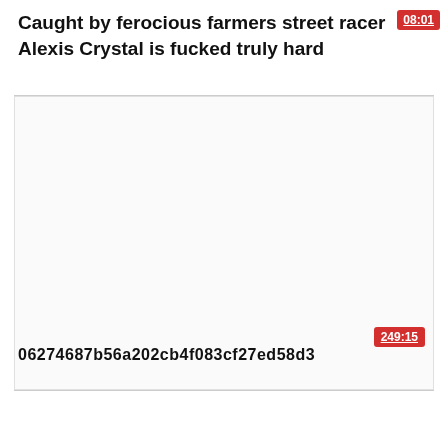Caught by ferocious farmers street racer Alexis Crystal is fucked truly hard
[Figure (screenshot): Video thumbnail area, largely blank/white with a red badge showing duration 08:01 in top right and 249:15 badge in bottom right]
06274687b56a202cb4f083cf27ed58d3